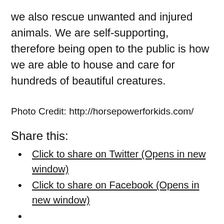we also rescue unwanted and injured animals. We are self-supporting, therefore being open to the public is how we are able to house and care for hundreds of beautiful creatures.
Photo Credit: http://horsepowerforkids.com/
Share this:
Click to share on Twitter (Opens in new window)
Click to share on Facebook (Opens in new window)
Like this:
Like Loading…